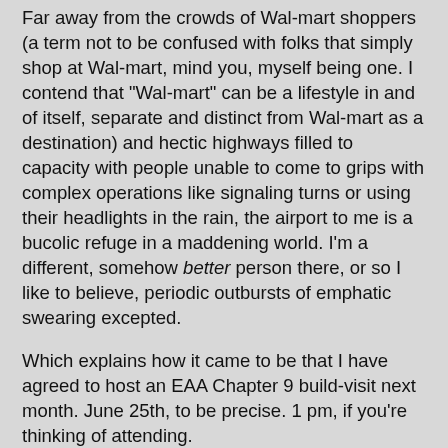Far away from the crowds of Wal-mart shoppers (a term not to be confused with folks that simply shop at Wal-mart, mind you, myself being one. I contend that "Wal-mart" can be a lifestyle in and of itself, separate and distinct from Wal-mart as a destination) and hectic highways filled to capacity with people unable to come to grips with complex operations like signaling turns or using their headlights in the rain, the airport to me is a bucolic refuge in a maddening world. I'm a different, somehow better person there, or so I like to believe, periodic outbursts of emphatic swearing excepted.
Which explains how it came to be that I have agreed to host an EAA Chapter 9 build-visit next month. June 25th, to be precise. 1 pm, if you're thinking of attending.
I myself have never attended one of these soirees so I have no idea what the expectations are for the provision of amenities and comestibles. Do I need to bring chairs? Perhaps a gazebo? Do hosts typically cater in warm foods, or perhaps fondue? Baked goods? Finger sandwiches? Will I be vilified behind my back as a provincial rube for failing to have at least a three member band? Strings, or jazz?